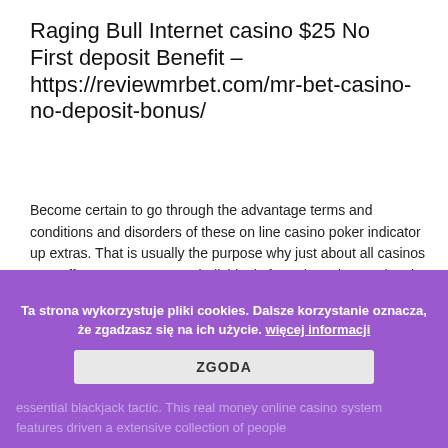Raging Bull Internet casino $25 No First deposit Benefit – https://reviewmrbet.com/mr-bet-casino-no-deposit-bonus/
Become certain to go through the advantage terms and conditions and disorders of these on line casino poker indicator up extras. That is usually the purpose why just about all casinos may offer no cost extras to individuals from these international locations. As the people phone or flip, they make commitment details, identified by they will will end up being supplied benefit details. Future, you need to have to find out that you can't cash money out whole lot more than the amount of money of your little or no pay in extra. Some gambling house include a very long standing of ex... bonus rec... a good way to build up your int... you're capable at essential blackjack tactic. This real money online casino system features driven a extensive collection of people
Ta strona wykorzystuje pliki cookies. Dalsze korzystanie oznacza, że zgadzasz się na ich użycie. więcej informacji
ZGODA